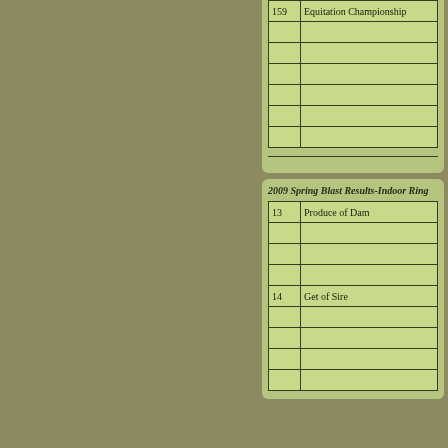| # | Class Name |
| --- | --- |
| 159 | Equitation Championship |
|  |  |
|  |  |
|  |  |
|  |  |
|  |  |
|  |  |
2009 Spring Blast Results-Indoor Ring
| # | Class Name |
| --- | --- |
| 13 | Produce of Dam |
|  |  |
|  |  |
|  |  |
| 14 | Get of Sire |
|  |  |
|  |  |
|  |  |
|  |  |